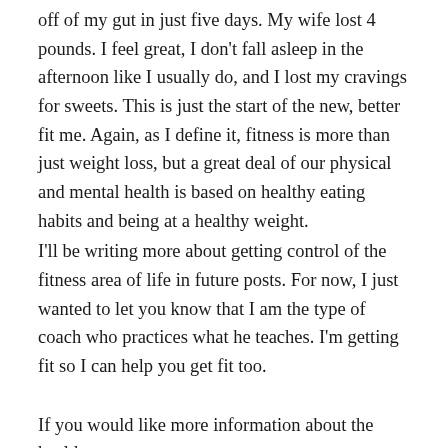off of my gut in just five days. My wife lost 4 pounds. I feel great, I don't fall asleep in the afternoon like I usually do, and I lost my cravings for sweets. This is just the start of the new, better fit me. Again, as I define it, fitness is more than just weight loss, but a great deal of our physical and mental health is based on healthy eating habits and being at a healthy weight.
I'll be writing more about getting control of the fitness area of life in future posts. For now, I just wanted to let you know that I am the type of coach who practices what he teaches. I'm getting fit so I can help you get fit too.
If you would like more information about the health